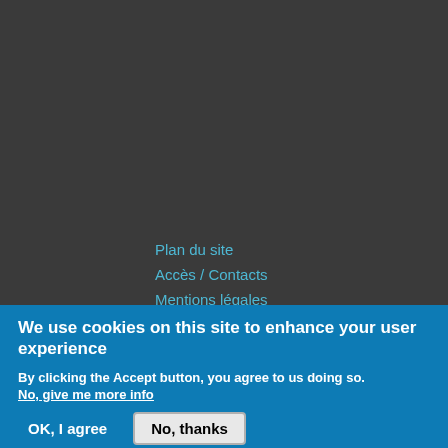Plan du site
Accès / Contacts
Mentions légales
We use cookies on this site to enhance your user experience
By clicking the Accept button, you agree to us doing so.
No, give me more info
OK, I agree    No, thanks